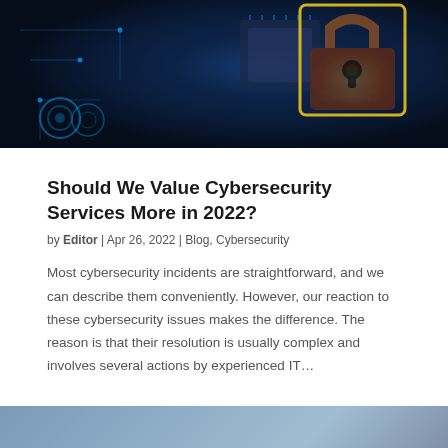[Figure (photo): Close-up photo of a glowing digital padlock on a circuit board with cyan and blue cybersecurity themed lighting and yellow outline highlights]
Should We Value Cybersecurity Services More in 2022?
by Editor | Apr 26, 2022 | Blog, Cybersecurity
Most cybersecurity incidents are straightforward, and we can describe them conveniently. However, our reaction to these cybersecurity issues makes the difference. The reason is that their resolution is usually complex and involves several actions by experienced IT...
[Figure (photo): Partial bottom banner image with steel blue/light blue color, appears to be beginning of another article image]